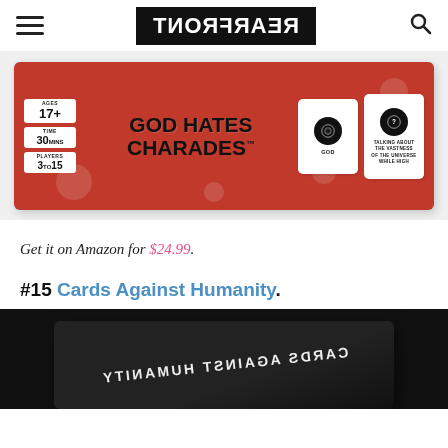REARFRONT
[Figure (photo): God Hates Charades board game box - red box with white text, showing ages 17+, time 30min, players 3 to 15, and two white cards showing 'GOD' and 'TALKING ABOUT THE VASTNESS OF THE UNIVERSE WHILE HIGH']
Get it on Amazon for $24.99.
#15 Cards Against Humanity.
[Figure (photo): Cards Against Humanity black box, partially shown, with white text mirrored/upside down]